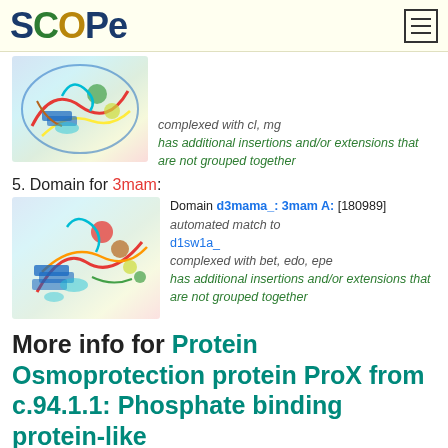SCOPe
[Figure (illustration): Protein structure ribbon diagram, rainbow colored (blue to red), showing alpha helices and beta sheets]
complexed with cl, mg
has additional insertions and/or extensions that are not grouped together
5. Domain for 3mam:
[Figure (illustration): Protein structure ribbon diagram for 3mam, rainbow colored showing alpha helices and beta sheets]
Domain d3mama_: 3mam A: [180989]
automated match to d1sw1a_
complexed with bet, edo, epe
has additional insertions and/or extensions that are not grouped together
More info for Protein Osmoprotection protein ProX from c.94.1.1: Phosphate binding protein-like